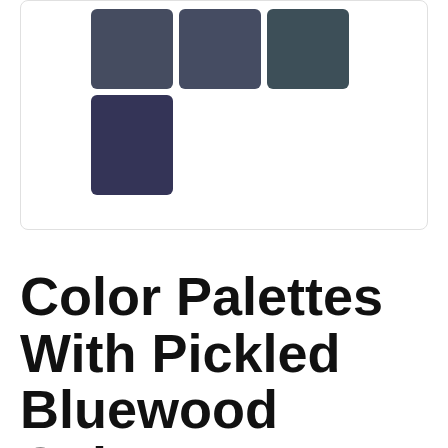[Figure (illustration): A white card with rounded border containing four color swatches: three in a top row (dark blue-grey, dark blue-grey, dark teal-grey) and one larger swatch below the first (deep dark purple-blue).]
Color Palettes With Pickled Bluewood Color